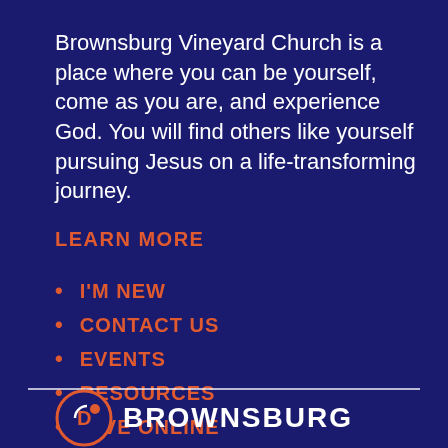Brownsburg Vineyard Church is a place where you can be yourself, come as you are, and experience God. You will find others like yourself pursuing Jesus on a life-transforming journey.
LEARN MORE
I'M NEW
CONTACT US
EVENTS
RESOURCES
GIVE ONLINE
[Figure (logo): Brownsburg Vineyard Church logo with circular icon containing the letter D and text BROWNSBURG]